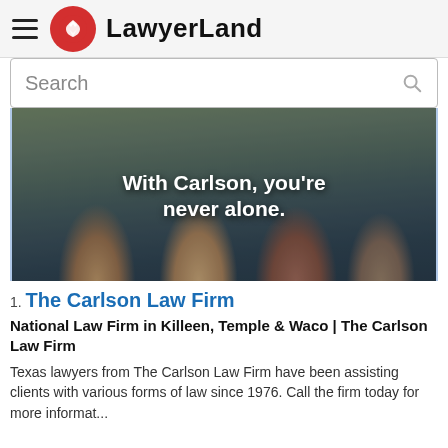LawyerLand
Search
[Figure (photo): Group photo of four lawyers (two women, two men in business attire) standing outside a building with text overlay: 'With Carlson, you're never alone.']
1. The Carlson Law Firm
National Law Firm in Killeen, Temple & Waco | The Carlson Law Firm
Texas lawyers from The Carlson Law Firm have been assisting clients with various forms of law since 1976. Call the firm today for more information.